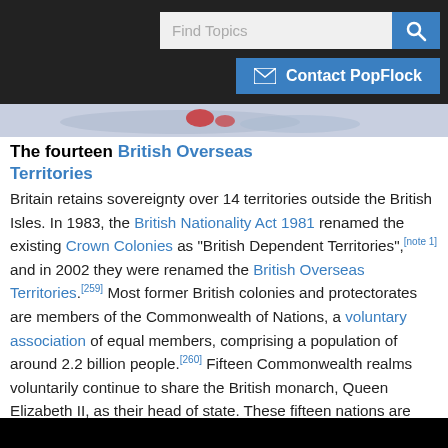[Figure (screenshot): Website UI showing search bar with 'Find Topics' placeholder and blue search button, plus a blue 'Contact PopFlock' button with envelope icon]
[Figure (photo): Partial map image showing British Overseas Territories, cropped at top]
The fourteen British Overseas Territories
Britain retains sovereignty over 14 territories outside the British Isles. In 1983, the British Nationality Act 1981 renamed the existing Crown Colonies as "British Dependent Territories", [note 1] and in 2002 they were renamed the British Overseas Territories.[259] Most former British colonies and protectorates are members of the Commonwealth of Nations, a voluntary association of equal members, comprising a population of around 2.2 billion people.[260] Fifteen Commonwealth realms voluntarily continue to share the British monarch, Queen Elizabeth II, as their head of state. These fifteen nations are distinct and equal legal entities - the United Kingdom, Australia, Canada, New Zealand, Antigua and Barbuda, The